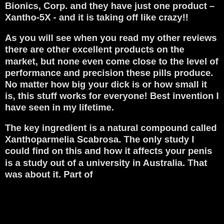Bionics, Corp. and they have just one product – Xantho-5X - and it is taking off like crazy!!
As you will see when you read my other reviews there are other excellent products on the market, but none even come close to the level of performance and precision these pills produce. No matter how big your dick is or how small it is, this stuff works for everyone! Best invention I have seen in my lifetime.
The key ingredient is a natural compound called Xanthoparmelia Scabrosa. The only study I could find on this and how it affects your penis is a study out of a university in Australia. That was about it. Part of